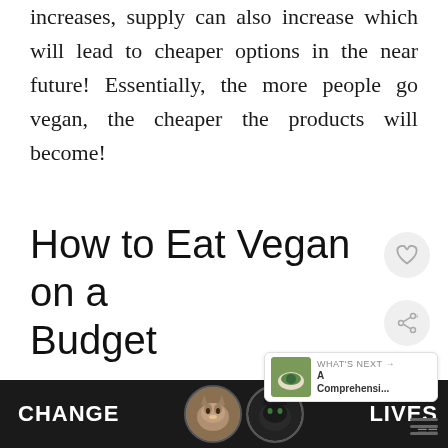increases, supply can also increase which will lead to cheaper options in the near future! Essentially, the more people go vegan, the cheaper the products will become!
How to Eat Vegan on a Budget
Here is the simple truth: eating vegan does
[Figure (screenshot): Advertisement banner at bottom of page reading CHANGE LIVES with two cat photos, on a dark background with a close button]
[Figure (infographic): WHAT'S NEXT panel showing a thumbnail of a bowl with greens and text 'A Comprehensi...']